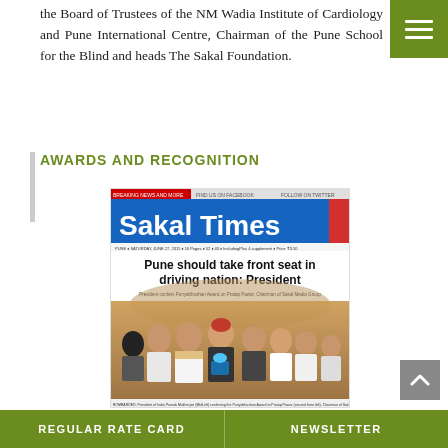the Board of Trustees of the NM Wadia Institute of Cardiology and Pune International Centre, Chairman of the Pune School for the Blind and heads The Sakal Foundation.
AWARDS AND RECOGNITION
[Figure (photo): Scan of a Sakal Times newspaper front page with headline 'Pune should take front seat in driving nation: President'. Subheadline: 'President confers Punyabhushan Award on Pratap Pawar, Chairman of Sakal Media Group'. Shows a group photo of dignitaries at award ceremony.]
REGULAR RATE CARD    NEWSLETTER